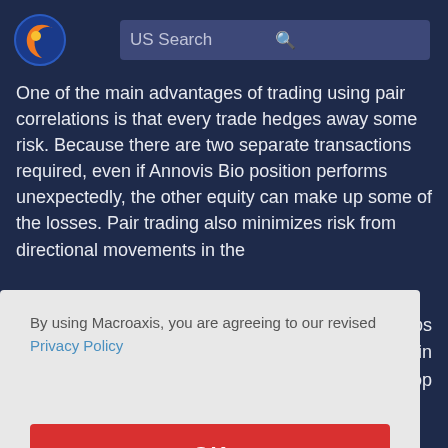[Figure (logo): Macroaxis globe logo with orange and blue colors]
US Search
One of the main advantages of trading using pair correlations is that every trade hedges away some risk. Because there are two separate transactions required, even if Annovis Bio position performs unexpectedly, the other equity can make up some of the losses. Pair trading also minimizes risk from directional movements in the
rops
in
e drop
By using Macroaxis, you are agreeing to our revised Privacy Policy
OK